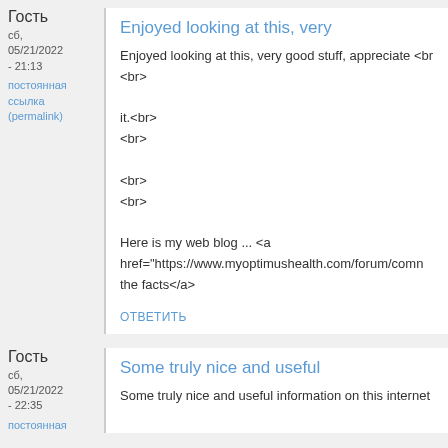Гость
сб, 05/21/2022 - 21:13
постоянная ссылка (permalink)
Enjoyed looking at this, very
Enjoyed looking at this, very good stuff, appreciate <br>
<br>

it.<br>
<br>

<br>
<br>

Here is my web blog ... <a href="https://www.myoptimushealth.com/forum/comn the facts</a>
ответить
Гость
сб, 05/21/2022 - 22:35
постоянная
Some truly nice and useful
Some truly nice and useful information on this internet